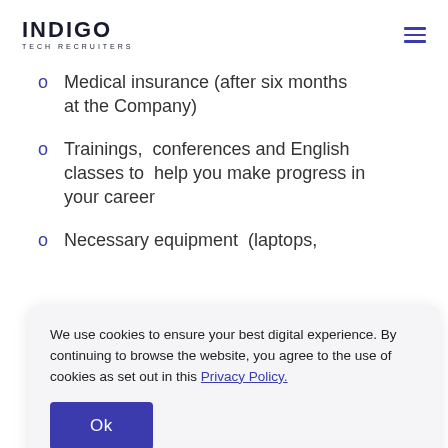INDIGO TECH RECRUITERS
Medical insurance (after six months at the Company)
Trainings,  conferences and English classes to  help you make progress in your career
Necessary equipment  (laptops,
We use cookies to ensure your best digital experience. By continuing to browse the website, you agree to the use of cookies as set out in this Privacy Policy.